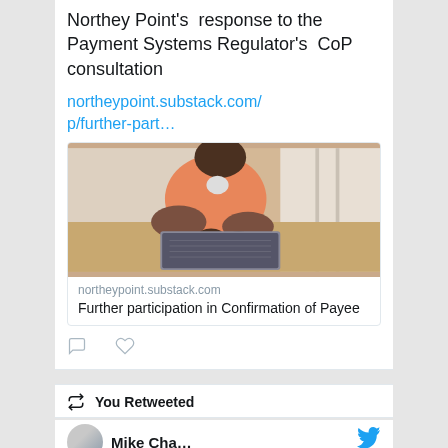Northey Point's response to the Payment Systems Regulator's CoP consultation
northeypoint.substack.com/p/further-part…
[Figure (photo): Person sitting and using a laptop computer, wearing an orange/salmon shirt, photographed from the side in a bright room with wooden floor]
northeypoint.substack.com
Further participation in Confirmation of Payee
You Retweeted
Mike Cha…